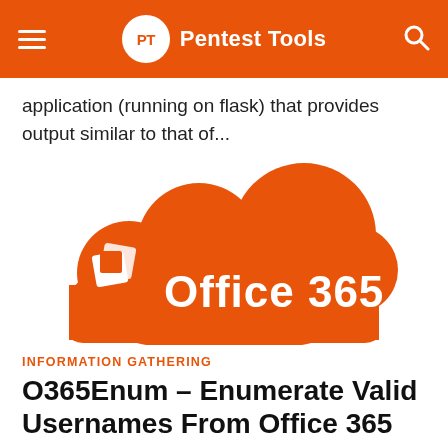PT Pentest Tools
application (running on flask) that provides output similar to that of...
[Figure (logo): Microsoft Office 365 logo — orange cloud shape with white Office icon and 'Office 365' text in white]
INFORMATION GATHERING
O365Enum – Enumerate Valid Usernames From Office 365